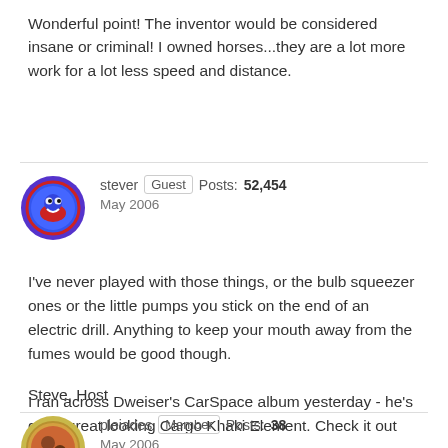Wonderful point! The inventor would be considered insane or criminal! I owned horses...they are a lot more work for a lot less speed and distance.
stever  Guest  Posts: 52,454
May 2006
I've never played with those things, or the bulb squeezer ones or the little pumps you stick on the end of an electric drill. Anything to keep your mouth away from the fumes would be good though.

I ran across Dweiser's CarSpace album yesterday - he's got a great looking Cargo Khaki Element. Check it out here.

Steve, Host
pleiades  Member  Posts: 38
May 2006